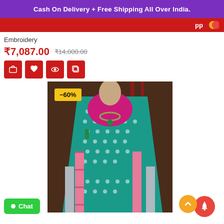Cash On Delivery + Free Shipping All Over India.
Embroidery
₹7,087.00  ₹14,000.00
[Figure (photo): Woman wearing a teal/green embroidered saree with pink border and magenta blouse, with -60% discount badge overlay]
Chat